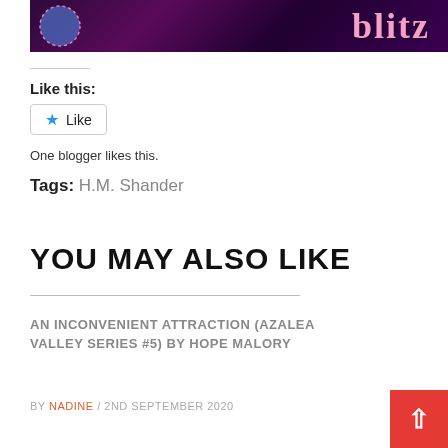[Figure (illustration): Book blitz banner with purple/dark background, moon on left, text 'blitz' in pink cursive on right]
Like this:
Like
One blogger likes this.
Tags: H.M. Shander
YOU MAY ALSO LIKE
AN INCONVENIENT ATTRACTION (AZALEA VALLEY SERIES #5) BY HOPE MALORY
BY NADINE / 2ND SEPTEMBER 2020